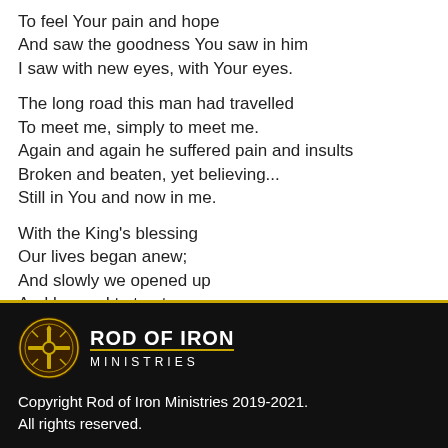To feel Your pain and hope
And saw the goodness You saw in him
I saw with new eyes, with Your eyes.

The long road this man had travelled
To meet me, simply to meet me.
Again and again he suffered pain and insults
Broken and beaten, yet believing...
Still in You and now in me.

With the King's blessing
Our lives began anew;
And slowly we opened up
And learned to trust anew
One another and most especially You.
[Figure (logo): Rod of Iron Ministries logo — circular emblem with gold cross and sun motif on dark brown/black background, with text ROD OF IRON MINISTRIES in white/gold]
Copyright Rod of Iron Ministries 2019-2021. All rights reserved.